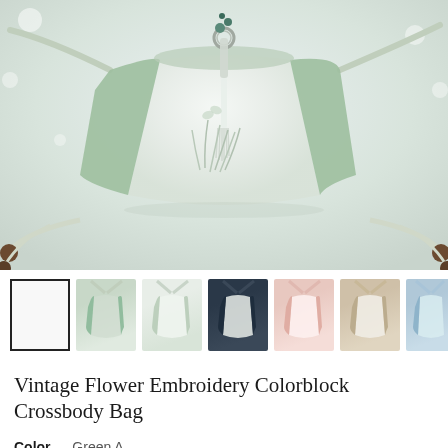[Figure (photo): Main product photo of a green and white vintage flower embroidery colorblock crossbody drawstring bag with tassels and beaded straps on a light background]
[Figure (photo): Row of thumbnail images showing the bag in different color variants: selected white/green, green, white-green, navy, pink, taupe, blue]
Vintage Flower Embroidery Colorblock Crossbody Bag
Color — Green A
[Figure (infographic): Color swatch circles for selecting bag color: Green A (selected), and six other color options]